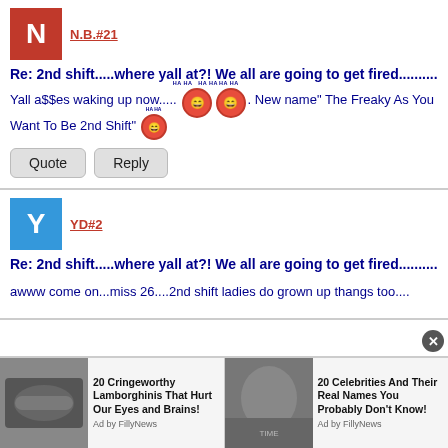N.B.#21
Re: 2nd shift.....where yall at?! We all are going to get fired..........
Yall a$$es waking up now..... [emoji][emoji] . New name" The Freaky As You Want To Be 2nd Shift" [emoji]
Quote  Reply
YD#2
Re: 2nd shift.....where yall at?! We all are going to get fired..........
awww come on...miss 26....2nd shift ladies do grown up thangs too....
[Figure (screenshot): Ad bar with two sponsored articles: '20 Cringeworthy Lamborghinis That Hurt Our Eyes and Brains!' and '20 Celebrities And Their Real Names You Probably Don't Know!' with ad images]